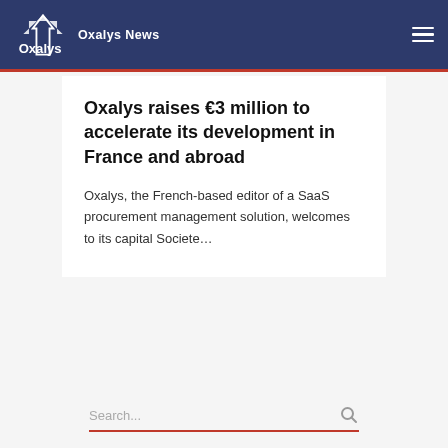Oxalys News
Oxalys raises €3 million to accelerate its development in France and abroad
Oxalys, the French-based editor of a SaaS procurement management solution, welcomes to its capital Societe...